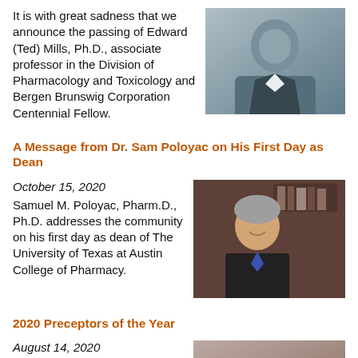It is with great sadness that we announce the passing of Edward (Ted) Mills, Ph.D., associate professor in the Division of Pharmacology and Toxicology and Bergen Brunswig Corporation Centennial Fellow.
[Figure (photo): Headshot of Edward (Ted) Mills, Ph.D., a man in a dark suit against a gray background]
A Message from Dr. Sam Poloyac on His First Day as Dean
October 15, 2020
Samuel M. Poloyac, Pharm.D., Ph.D. addresses the community on his first day as dean of The University of Texas at Austin College of Pharmacy.
[Figure (photo): Photo of Samuel M. Poloyac, Pharm.D., Ph.D., a man with gray hair smiling, sitting in front of a bookcase]
2020 Preceptors of the Year
August 14, 2020
P4 students in each of the
[Figure (photo): Partial headshot of a woman with dark hair, appears to be a preceptor of the year honoree]